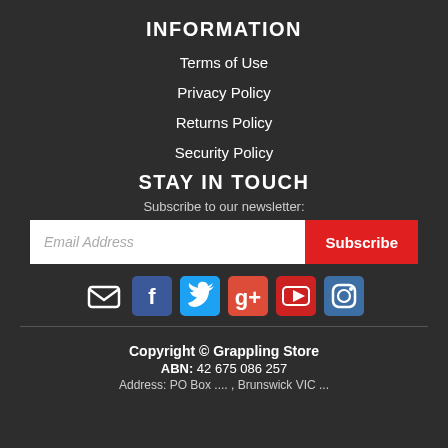INFORMATION
Terms of Use
Privacy Policy
Returns Policy
Security Policy
STAY IN TOUCH
Subscribe to our newsletter:
Email Address | Subscribe
[Figure (other): Social media icons row: email, Facebook, Twitter, Google+, YouTube, Instagram]
Copyright © Grappling Store
ABN: 42 675 086 257
Address: PO Box .... , Brunswick VIC ...